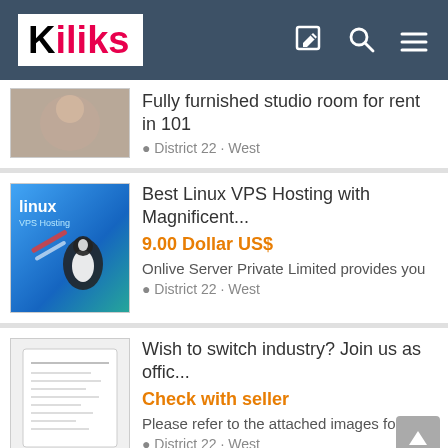[Figure (logo): Kiliks logo with black K and pink/red iliks text on white background, on a dark blue-grey navigation header with edit, search, and menu icons]
Fully furnished studio room for rent in 101
District 22 · West
Best Linux VPS Hosting with Magnificent...
9.00 Dollar US$
Onlive Server Private Limited provides you
District 22 · West
Wish to switch industry? Join us as offic...
Check with seller
Please refer to the attached images for
District 22 · West
Love dispute solution in Singapore +91-...